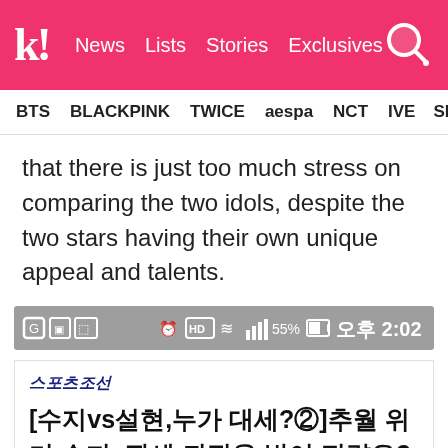k! News  Lists  Stories  Exclusives
BTS  BLACKPINK  TWICE  aespa  NCT  IVE  SEVE
that there is just too much stress on comparing the two idols, despite the two stars having their own unique appeal and talents.
[Figure (screenshot): Android status bar showing alarm, HD, WiFi, signal bars, 55% battery, and time 오후 2:02]
[Figure (screenshot): 스포츠조선 article screenshot with Korean headline: [수지vs설현,누가 대세?②]추월 위기 수지, 판세 뒤집을 방어 전략은? Date: 2015.09.25 오전 8:10, 최종수정 2015.09.25 오전 10:52, comment count 42]